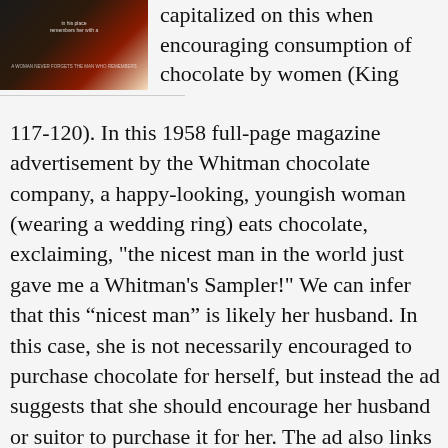[Figure (photo): Partial view of a Whitman chocolate advertisement showing dark background with text fragments, a woman's image, and product branding.]
capitalized on this when encouraging consumption of chocolate by women (King 117-120). In this 1958 full-page magazine advertisement by the Whitman chocolate company, a happy-looking, youngish woman (wearing a wedding ring) eats chocolate, exclaiming, "the nicest man in the world just gave me a Whitman's Sampler!" We can infer that this “nicest man” is likely her husband. In this case, she is not necessarily encouraged to purchase chocolate for herself, but instead the ad suggests that she should encourage her husband or suitor to purchase it for her. The ad also links